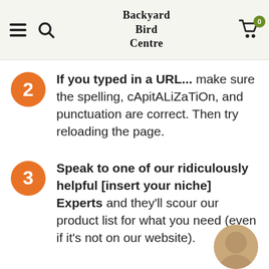Backyard Bird Centre
If you typed in a URL... make sure the spelling, cApitALiZaTiOn, and punctuation are correct. Then try reloading the page.
Speak to one of our ridiculously helpful [insert your niche] Experts and they'll scour our product list for what you need (even if it's not on our website).